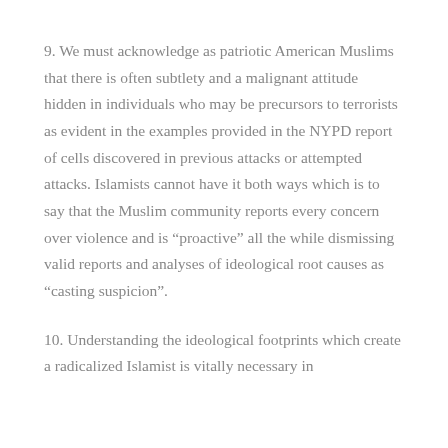9. We must acknowledge as patriotic American Muslims that there is often subtlety and a malignant attitude hidden in individuals who may be precursors to terrorists as evident in the examples provided in the NYPD report of cells discovered in previous attacks or attempted attacks. Islamists cannot have it both ways which is to say that the Muslim community reports every concern over violence and is “proactive” all the while dismissing valid reports and analyses of ideological root causes as “casting suspicion”.
10. Understanding the ideological footprints which create a radicalized Islamist is vitally necessary in